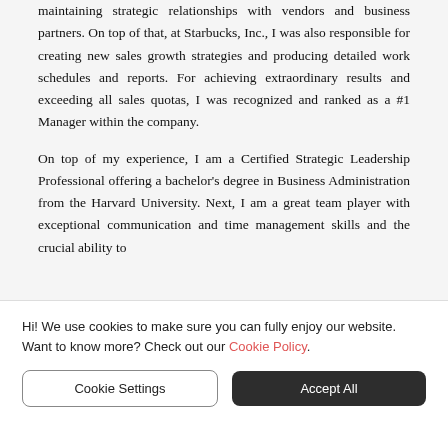maintaining strategic relationships with vendors and business partners. On top of that, at Starbucks, Inc., I was also responsible for creating new sales growth strategies and producing detailed work schedules and reports. For achieving extraordinary results and exceeding all sales quotas, I was recognized and ranked as a #1 Manager within the company.
On top of my experience, I am a Certified Strategic Leadership Professional offering a bachelor's degree in Business Administration from the Harvard University. Next, I am a great team player with exceptional communication and time management skills and the crucial ability to
Hi! We use cookies to make sure you can fully enjoy our website. Want to know more? Check out our Cookie Policy.